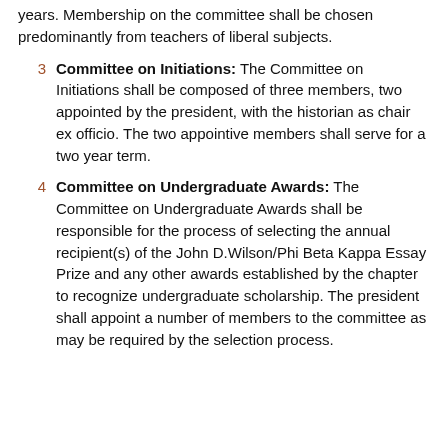years. Membership on the committee shall be chosen predominantly from teachers of liberal subjects.
3  Committee on Initiations: The Committee on Initiations shall be composed of three members, two appointed by the president, with the historian as chair ex officio. The two appointive members shall serve for a two year term.
4  Committee on Undergraduate Awards: The Committee on Undergraduate Awards shall be responsible for the process of selecting the annual recipient(s) of the John D.Wilson/Phi Beta Kappa Essay Prize and any other awards established by the chapter to recognize undergraduate scholarship. The president shall appoint a number of members to the committee as may be required by the selection process.